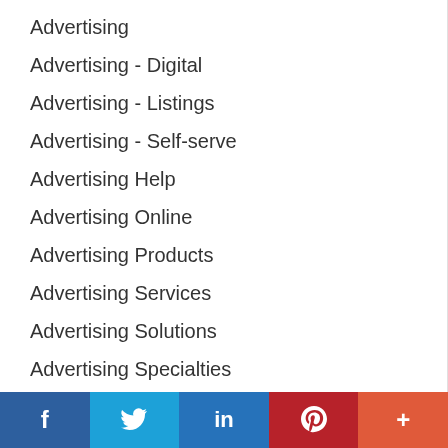Advertising
Advertising - Digital
Advertising - Listings
Advertising - Self-serve
Advertising Help
Advertising Online
Advertising Products
Advertising Services
Advertising Solutions
Advertising Specialties
Air Conditioning
Announcements
Apartments
Appliance Repair
f  Twitter  in  P  +